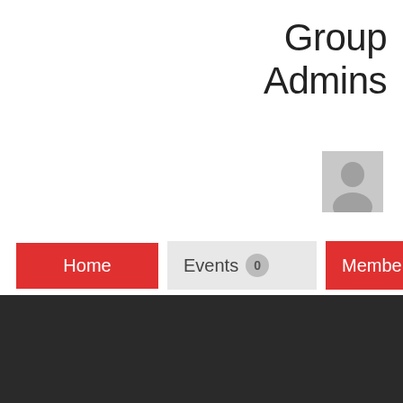Group Admins
[Figure (illustration): Gray placeholder avatar icon (person silhouette)]
Home
Events 0
Members 1
No Events
+1 (647) 607-4802  |  Email: humlalitkala@gmail.com  |  ABOUT US